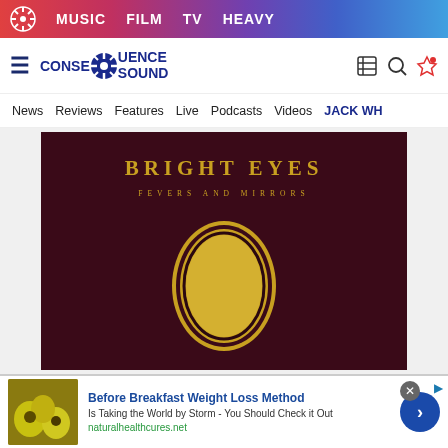MUSIC  FILM  TV  HEAVY
[Figure (logo): Consequence of Sound logo with gear icon]
News  Reviews  Features  Live  Podcasts  Videos  JACK WH...
[Figure (photo): Bright Eyes – Fevers and Mirrors album cover art: dark maroon background with gold text reading BRIGHT EYES / FEVERS AND MIRRORS and a gold oval emblem in the center]
Before Breakfast Weight Loss Method
Is Taking the World by Storm - You Should Check it Out
naturalhealthcures.net